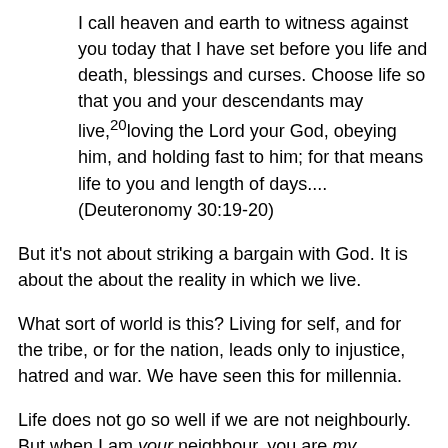I call heaven and earth to witness against you today that I have set before you life and death, blessings and curses. Choose life so that you and your descendants may live,²20loving the Lord your God, obeying him, and holding fast to him; for that means life to you and length of days.... (Deuteronomy 30:19-20)
But it's not about striking a bargain with God. It is about the about the reality in which we live.
What sort of world is this? Living for self, and for the tribe, or for the nation, leads only to injustice, hatred and war. We have seen this for millennia.
Life does not go so well if we are not neighbourly. But when I am your neighbour, you are my neighbour. We need not fear each other. Instead, we can thrive together.
The lawyer told Jesus. "Love the Lord our God with